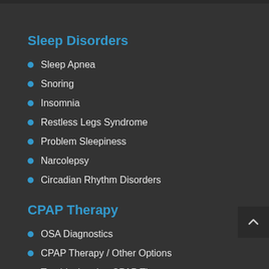Sleep Disorders
Sleep Apnea
Snoring
Insomnia
Restless Legs Syndrome
Problem Sleepiness
Narcolepsy
Circadian Rhythm Disorders
CPAP Therapy
OSA Diagnostics
CPAP Therapy / Other Options
Troubleshooting CPAP Therapy...